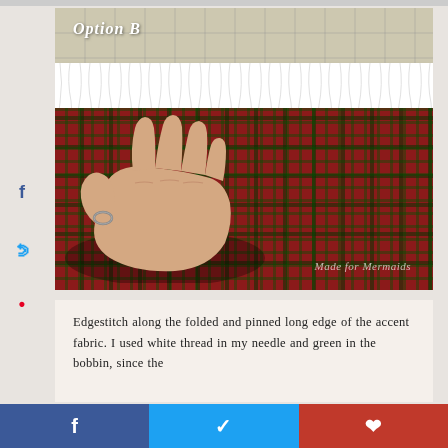[Figure (photo): Photo labeled 'Option B' showing a hand pressing down on plaid red and green fabric next to white fluffy fur trim, placed on a cutting mat with grid lines. Watermark 'Made for Mermaids' in lower right.]
Edgestitch along the folded and pinned long edge of the accent fabric. I used white thread in my needle and green in the bobbin, since the
Facebook share | Twitter share | Pinterest share